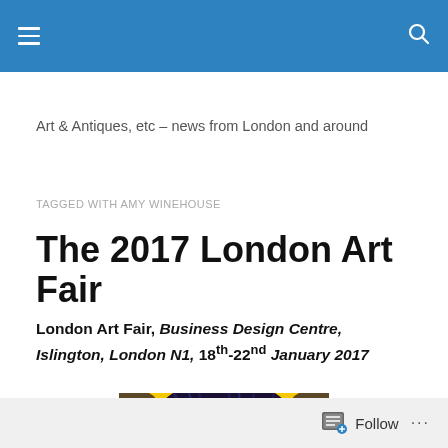Art & Antiques, etc – news from London and around
TAGGED WITH AMY WINEHOUSE
The 2017 London Art Fair
London Art Fair, Business Design Centre, Islington, London N1, 18th-22nd January 2017
[Figure (photo): Artwork image showing a figure with dark hair against a yellow background, partially visible]
Follow